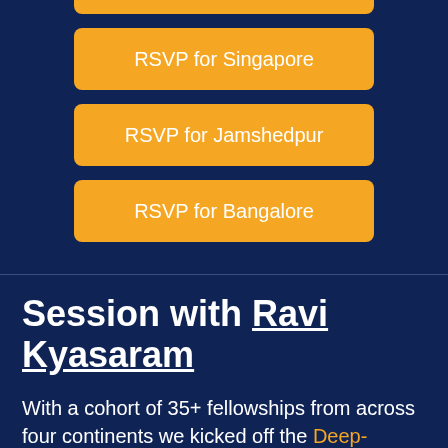RSVP for Singapore
RSVP for Jamshedpur
RSVP for Bangalore
Session with Ravi Kyasaram
With a cohort of 35+ fellowships from across four continents we kicked off the Deep-